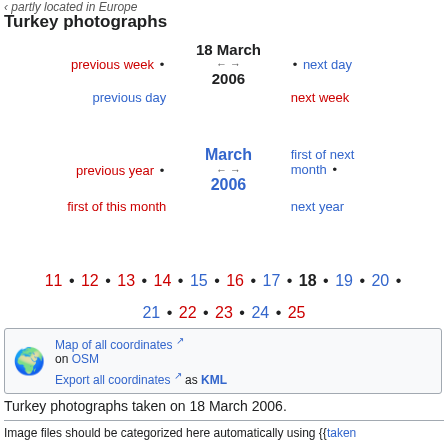‹ partly located in Europe
Turkey photographs
previous week • 18 March 2006 next day • previous day next week first of next previous year • March 2006 month • first of this month next year
11 • 12 • 13 • 14 • 15 • 16 • 17 • 18 • 19 • 20 • 21 • 22 • 23 • 24 • 25
[Figure (other): Globe icon with map coordinates navigation box]
Turkey photographs taken on 18 March 2006.
Image files should be categorized here automatically using {{taken